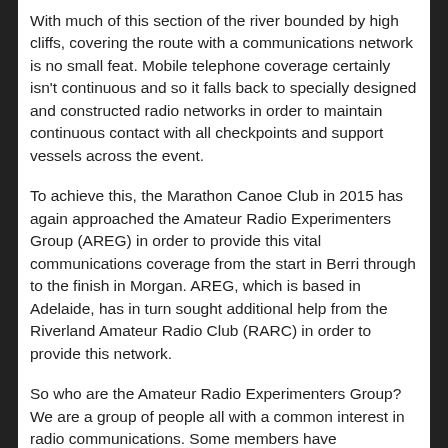With much of this section of the river bounded by high cliffs, covering the route with a communications network is no small feat. Mobile telephone coverage certainly isn't continuous and so it falls back to specially designed and constructed radio networks in order to maintain continuous contact with all checkpoints and support vessels across the event.
To achieve this, the Marathon Canoe Club in 2015 has again approached the Amateur Radio Experimenters Group (AREG) in order to provide this vital communications coverage from the start in Berri through to the finish in Morgan. AREG, which is based in Adelaide, has in turn sought additional help from the Riverland Amateur Radio Club (RARC) in order to provide this network.
So who are the Amateur Radio Experimenters Group? We are a group of people all with a common interest in radio communications. Some members have backgrounds in professional radio communications and engineering, while others are students, retirees, farmers, security guards or work in manufacturing. We are all licensed Amateur Radio Operators (also known as ham radio operators) with qualifications, training, experience and equipment that allows us to